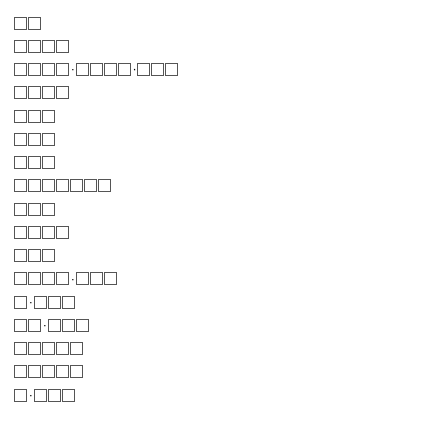□□
□□□□
□□□□·□□□□·□□□
□□□□
□□□
□□□
□□□
□□□□□□□
□□□
□□□□
□□□
□□□□·□□□
□·□□□
□□·□□□
□□□□□
□□□□□
□·□□□